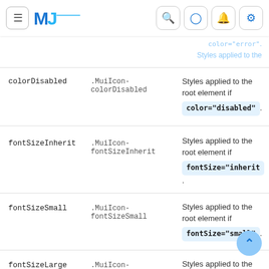MUI Documentation navigation bar with hamburger, logo, search, GitHub, notification, settings icons
| Rule name | Global class | Description |
| --- | --- | --- |
| colorDisabled | .MuiIcon-colorDisabled | Styles applied to the root element if color="disabled". |
| fontSizeInherit | .MuiIcon-fontSizeInherit | Styles applied to the root element if fontSize="inherit". |
| fontSizeSmall | .MuiIcon-fontSizeSmall | Styles applied to the root element if fontSize="small". |
| fontSizeLarge | .MuiIcon-fontSizeLarge | Styles applied to the root element if fontSize="large". |